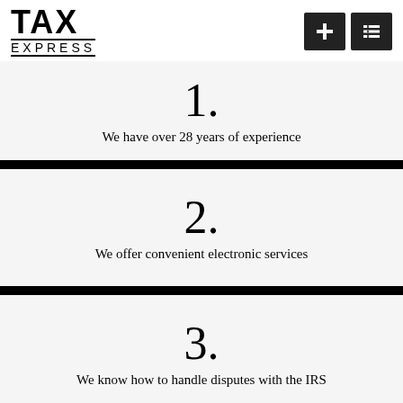TAX EXPRESS
1. We have over 28 years of experience
2. We offer convenient electronic services
3. We know how to handle disputes with the IRS